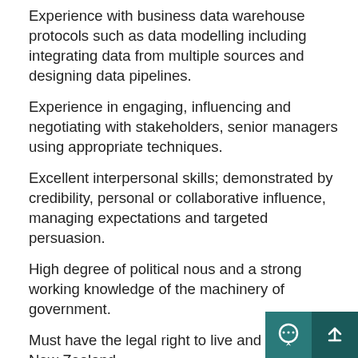Experience with business data warehouse protocols such as data modelling including integrating data from multiple sources and designing data pipelines.
Experience in engaging, influencing and negotiating with stakeholders, senior managers using appropriate techniques.
Excellent interpersonal skills; demonstrated by credibility, personal or collaborative influence, managing expectations and targeted persuasion.
High degree of political nous and a strong working knowledge of the machinery of government.
Must have the legal right to live and work in New Zealand
Considerable experience in dealing with ambiguity in a complex and dynamic environment.
Experience working in projects and continuous improvement initiatives.